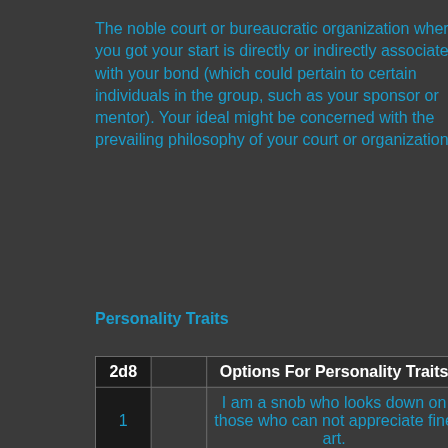The noble court or bureaucratic organization where you got your start is directly or indirectly associated with your bond (which could pertain to certain individuals in the group, such as your sponsor or mentor). Your ideal might be concerned with the prevailing philosophy of your court or organization.
Personality Traits
| 2d8 |  | Options For Personality Traits |
| --- | --- | --- |
| 1 |  | I am a snob who looks down on those who can not appreciate fine art. |
|  |  | I believe that everything worth doing is |